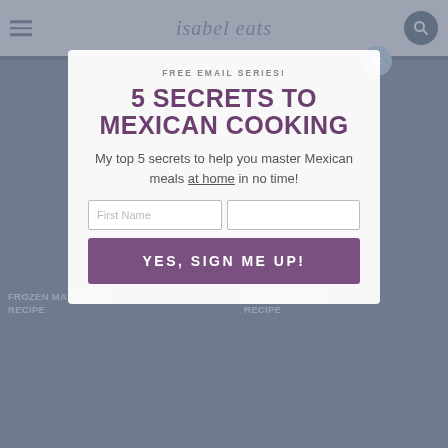isabel eats
[Figure (screenshot): Background website screenshot showing frozen margarita recipe and classic mojito recipe cards, dimmed by modal overlay]
FREE EMAIL SERIES!
5 SECRETS TO MEXICAN COOKING
My top 5 secrets to help you master Mexican meals at home in no time!
First Name | Email
YES, SIGN ME UP!